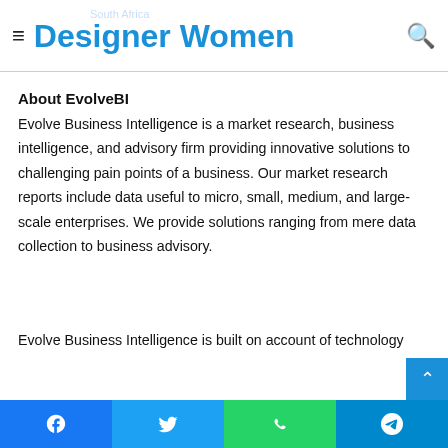Designer Women
About EvolveBI
Evolve Business Intelligence is a market research, business intelligence, and advisory firm providing innovative solutions to challenging pain points of a business. Our market research reports include data useful to micro, small, medium, and large-scale enterprises. We provide solutions ranging from mere data collection to business advisory.
Evolve Business Intelligence is built on account of technology